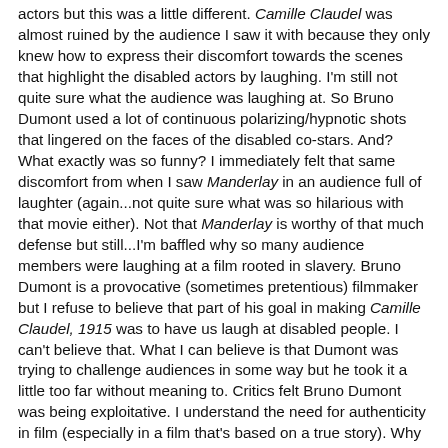actors but this was a little different. Camille Claudel was almost ruined by the audience I saw it with because they only knew how to express their discomfort towards the scenes that highlight the disabled actors by laughing. I'm still not quite sure what the audience was laughing at. So Bruno Dumont used a lot of continuous polarizing/hypnotic shots that lingered on the faces of the disabled co-stars. And? What exactly was so funny? I immediately felt that same discomfort from when I saw Manderlay in an audience full of laughter (again...not quite sure what was so hilarious with that movie either). Not that Manderlay is worthy of that much defense but still...I'm baffled why so many audience members were laughing at a film rooted in slavery. Bruno Dumont is a provocative (sometimes pretentious) filmmaker but I refuse to believe that part of his goal in making Camille Claudel, 1915 was to have us laugh at disabled people. I can't believe that. What I can believe is that Dumont was trying to challenge audiences in some way but he took it a little too far without meaning to. Critics felt Bruno Dumont was being exploitative. I understand the need for authenticity in film (especially in a film that's based on a true story). Why hire actors who end up giving a poor & insulting performance